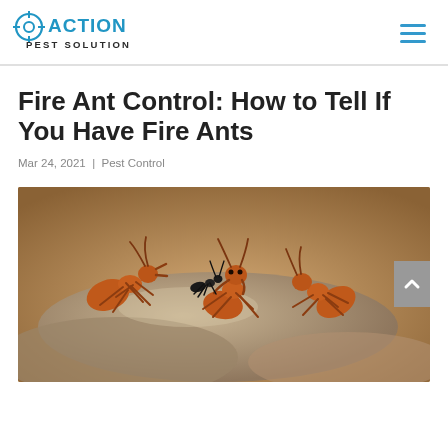[Figure (logo): Action Pest Solutions logo — blue stylized text with crosshair icon]
Fire Ant Control: How to Tell If You Have Fire Ants
Mar 24, 2021  |  Pest Control
[Figure (photo): Close-up macro photograph of fire ants on rocky ground, reddish-brown ants with one small black ant visible]